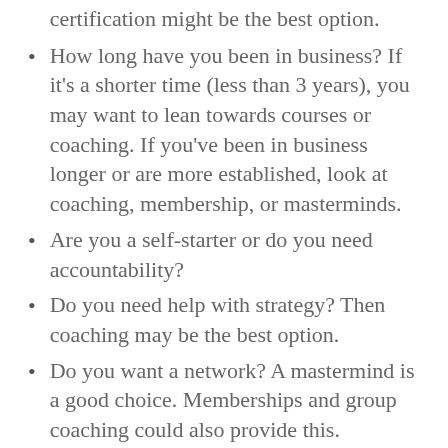certification might be the best option.
How long have you been in business? If it's a shorter time (less than 3 years), you may want to lean towards courses or coaching. If you've been in business longer or are more established, look at coaching, membership, or masterminds.
Are you a self-starter or do you need accountability?
Do you need help with strategy? Then coaching may be the best option.
Do you want a network? A mastermind is a good choice. Memberships and group coaching could also provide this.
Do you want customized help based on your unique business and goals?